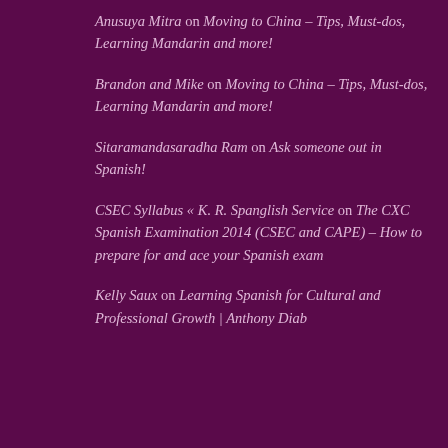Anusuya Mitra on Moving to China – Tips, Must-dos, Learning Mandarin and more!
Brandon and Mike on Moving to China – Tips, Must-dos, Learning Mandarin and more!
Sitaramandasaradha Ram on Ask someone out in Spanish!
CSEC Syllabus « K. R. Spanglish Service on The CXC Spanish Examination 2014 (CSEC and CAPE) – How to prepare for and ace your Spanish exam
Kelly Saux on Learning Spanish for Cultural and Professional Growth | Anthony Diab